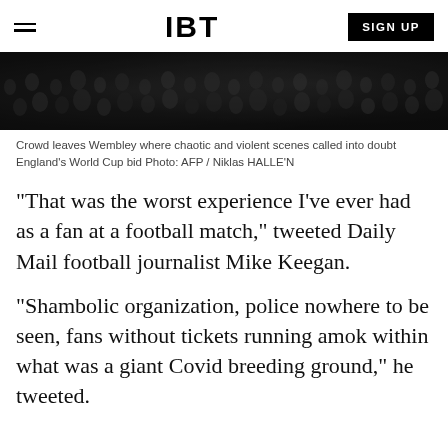IBT | SIGN UP
[Figure (photo): Crowd of football fans leaving Wembley stadium, dark and dense image]
Crowd leaves Wembley where chaotic and violent scenes called into doubt England's World Cup bid Photo: AFP / Niklas HALLE'N
"That was the worst experience I've ever had as a fan at a football match," tweeted Daily Mail football journalist Mike Keegan.
"Shambolic organization, police nowhere to be seen, fans without tickets running amok within what was a giant Covid breeding ground," he tweeted.